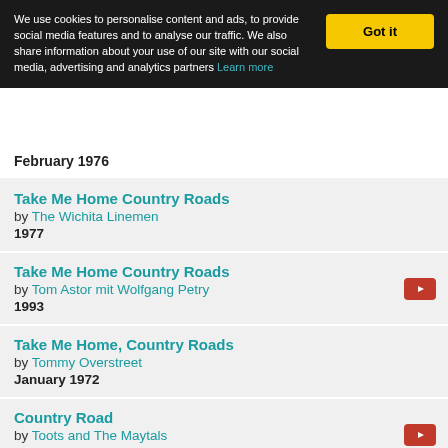We use cookies to personalise content and ads, to provide social media features and to analyse our traffic. We also share information about your use of our site with our social media, advertising and analytics partners Learn more
Take Me Home Country Roads by The Wichita Linemen 1977
Take Me Home Country Roads by Tom Astor mit Wolfgang Petry 1993
Take Me Home, Country Roads by Tommy Overstreet January 1972
Country Road by Toots and The Maytals 1972